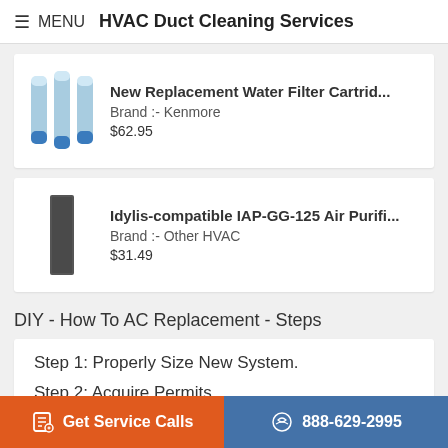≡ MENU  HVAC Duct Cleaning Services
[Figure (photo): Three blue water filter cartridges shown side by side]
New Replacement Water Filter Cartrid...
Brand :- Kenmore
$62.95
[Figure (photo): Single dark gray rectangular air purifier filter]
Idylis-compatible IAP-GG-125 Air Purifi...
Brand :- Other HVAC
$31.49
DIY - How To AC Replacement - Steps
Step 1: Properly Size New System.
Step 2: Acquire Permits.
Step 3: Removal of Old System.
Get Service Calls  |  888-629-2995